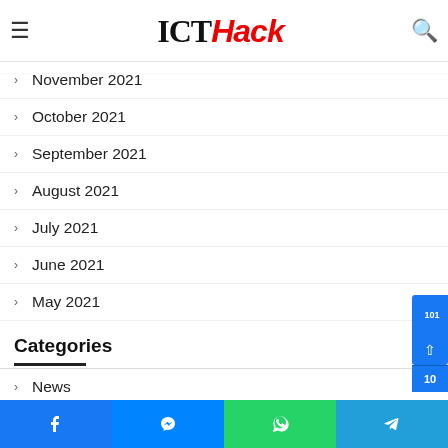ICTHack
January 2022
December 2021
November 2021
October 2021
September 2021
August 2021
July 2021
June 2021
May 2021
Categories
News
Smartphones